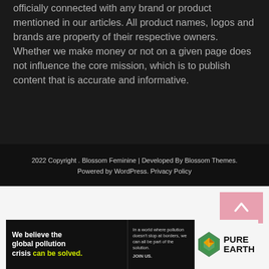officially connected with any brand or product mentioned in our articles. All product names, logos and brands are property of their respective owners. Whether we make money or not on a given page does not influence the core mission, which is to publish content that is accurate and informative.
2022 Copyright . Blossom Feminine | Developed By Blossom Themes. Powered by WordPress. Privacy Policy
[Figure (other): Scroll-to-top button with upward arrow, pink/rose background]
[Figure (other): Pure Earth advertisement banner: 'We believe the global pollution crisis can be solved.' with Pure Earth logo]